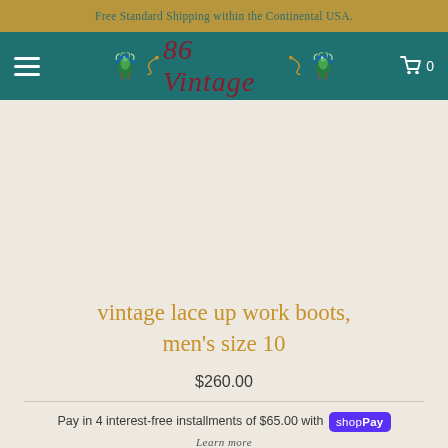Free Standard Shipping within the Continental USA.
[Figure (logo): 86 Vintage store logo with peacock decorations on teal navigation bar]
[Figure (photo): Product image area (blank/loading) for vintage lace up work boots]
vintage lace up work boots, men's size 10
$260.00
Pay in 4 interest-free installments of $65.00 with Shop Pay